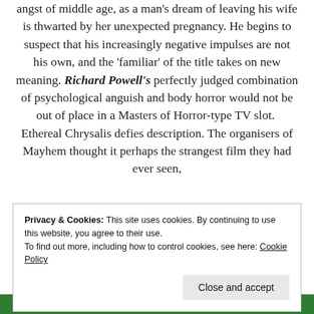angst of middle age, as a man's dream of leaving his wife is thwarted by her unexpected pregnancy. He begins to suspect that his increasingly negative impulses are not his own, and the 'familiar' of the title takes on new meaning. Richard Powell's perfectly judged combination of psychological anguish and body horror would not be out of place in a Masters of Horror-type TV slot.  Ethereal Chrysalis defies description. The organisers of Mayhem thought it perhaps the strangest film they had ever seen,
Privacy & Cookies: This site uses cookies. By continuing to use this website, you agree to their use.
To find out more, including how to control cookies, see here: Cookie Policy